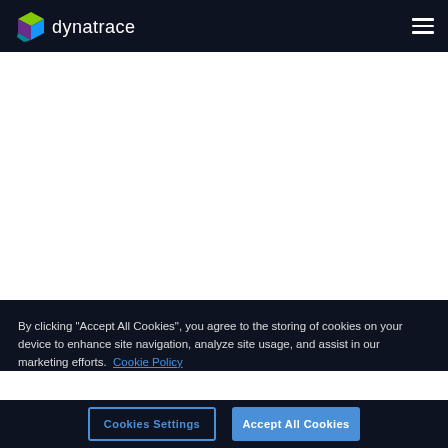Dynatrace navigation bar with logo and hamburger menu
[Figure (logo): Dynatrace logo — colorful cube icon followed by 'dynatrace' wordmark in white, on dark navy background]
By clicking "Accept All Cookies", you agree to the storing of cookies on your device to enhance site navigation, analyze site usage, and assist in our marketing efforts. Cookie Policy
Cookies Settings
Accept All Cookies